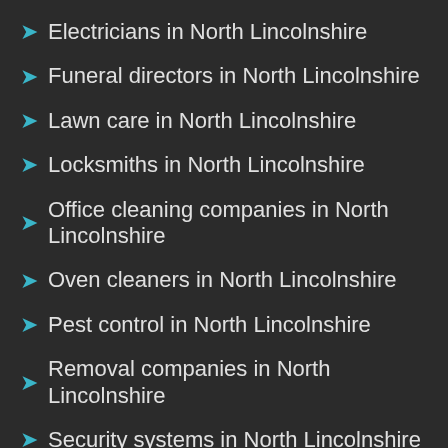Electricians in North Lincolnshire
Funeral directors in North Lincolnshire
Lawn care in North Lincolnshire
Locksmiths in North Lincolnshire
Office cleaning companies in North Lincolnshire
Oven cleaners in North Lincolnshire
Pest control in North Lincolnshire
Removal companies in North Lincolnshire
Security systems in North Lincolnshire